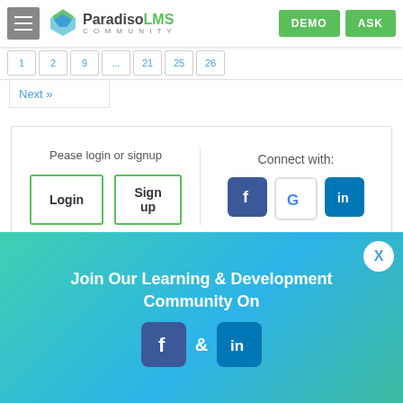Paradiso LMS Community — DEMO | ASK
Next »
Pease login or signup
Login | Sign up
Connect with:
CATEGORIES
Sharepoint LMS
[Figure (infographic): Bottom banner: Join Our Learning & Development Community On [Facebook] & [LinkedIn]]